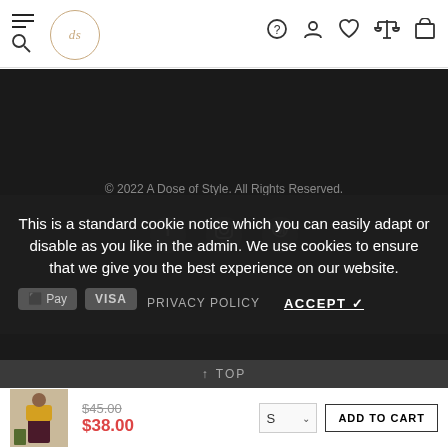Navigation header with hamburger menu, logo, search, help, account, wishlist, compare, and cart icons
© 2022 A Dose of Style. All Rights Reserved.
[Figure (other): Social media icons: Facebook, Instagram, Pinterest]
This is a standard cookie notice which you can easily adapt or disable as you like in the admin. We use cookies to ensure that we give you the best experience on our website.
PRIVACY POLICY   ACCEPT ✓
↑ TOP
[Figure (photo): Product thumbnail: woman wearing yellow top and dark maroon pants]
$45.00 (strikethrough)  $38.00
S  ∨  ADD TO CART